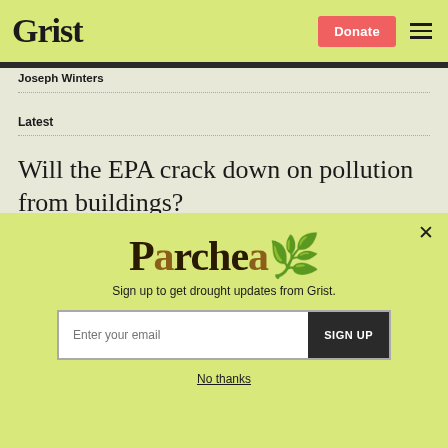Grist | Donate
Joseph Winters
Latest
Will the EPA crack down on pollution from buildings?
[Figure (screenshot): Parched newsletter signup popup with yellow-green background, 'Parched' logo text, tagline 'Sign up to get drought updates from Grist.', email input field, SIGN UP button, and 'No thanks' link.]